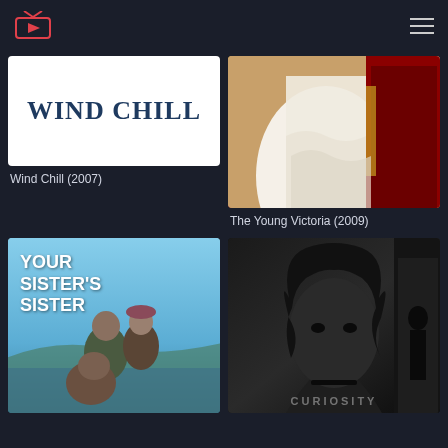[Figure (screenshot): Streaming app header with TV/play button logo icon on the left and hamburger menu on the right, dark navy background]
[Figure (photo): Wind Chill (2007) movie thumbnail - white background with dark blue serif bold text reading WIND CHILL]
[Figure (photo): The Young Victoria (2009) movie thumbnail - close-up of white wedding/period dress and red royal military uniform]
Wind Chill (2007)
The Young Victoria (2009)
[Figure (photo): Your Sister's Sister movie poster - blue sky background with bold white text YOUR SISTER'S SISTER, three people in foreground]
[Figure (photo): Curiosity - dark black and white photo of a woman's face looking forward, with CURIOSITY text overlay at bottom]